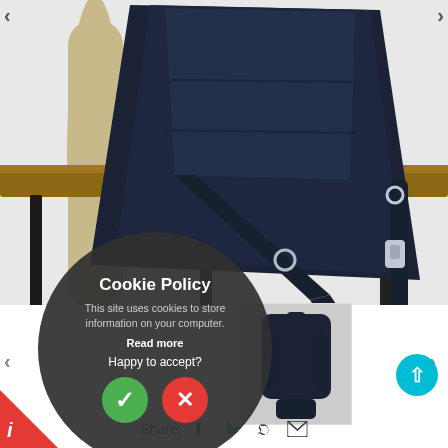[Figure (photo): A dark navy/black leather backpack with straps and silver hardware, hanging over a wooden rattan chair/bench. Product photo for an e-commerce listing. Shows the back/side of the bag with zipper and clip hardware visible.]
[Figure (photo): Thumbnail image of the same black backpack, smaller view showing the full bag from the front/side angle.]
Cookie Policy
This site uses cookies to store information on your computer.
Read more
Happy to accept?
Share: